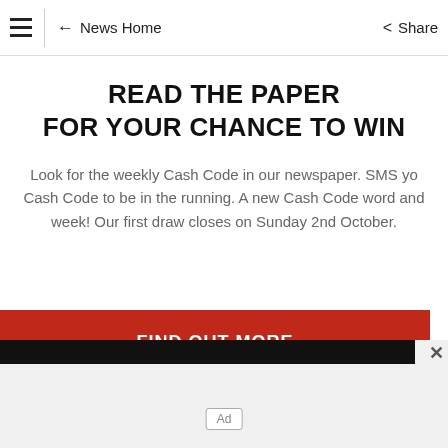News Home | Share
READ THE PAPER FOR YOUR CHANCE TO WIN
Look for the weekly Cash Code in our newspaper. SMS yo Cash Code to be in the running. A new Cash Code word and week! Our first draw closes on Sunday 2nd October.
FIND OUT MORE
[Figure (other): Advertisement banner with black bar and Ad label, with close button]